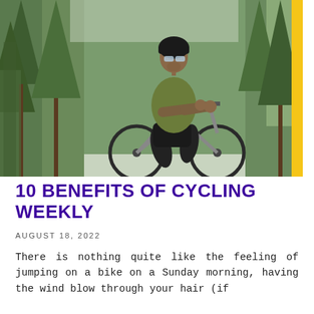[Figure (photo): A man wearing a black helmet and sunglasses, dressed in an olive green t-shirt and black shorts, riding a bicycle through a forest with pine trees in the background.]
10 BENEFITS OF CYCLING WEEKLY
AUGUST 18, 2022
There is nothing quite like the feeling of jumping on a bike on a Sunday morning, having the wind blow through your hair (if